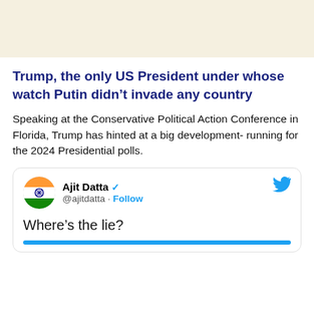Trump, the only US President under whose watch Putin didn’t invade any country
Speaking at the Conservative Political Action Conference in Florida, Trump has hinted at a big development- running for the 2024 Presidential polls.
Ajit Datta @ajitdatta · Follow
Where’s the lie?